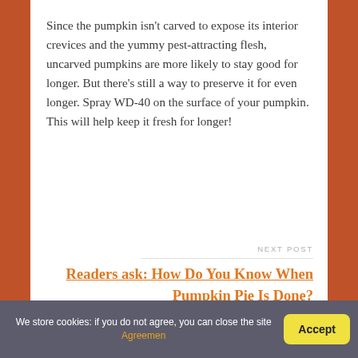Since the pumpkin isn't carved to expose its interior crevices and the yummy pest-attracting flesh, uncarved pumpkins are more likely to stay good for longer. But there's still a way to preserve it for even longer. Spray WD-40 on the surface of your pumpkin. This will help keep it fresh for longer!
NEXT POST
Readers ask: How Do You Know When Pumpkin Pie Is Done?
We store cookies: if you do not agree, you can close the site Agreemen